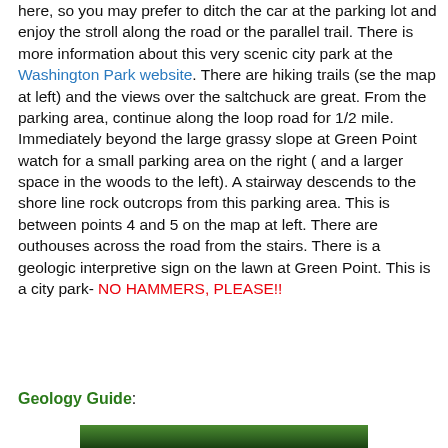here, so you may prefer to ditch the car at the parking lot and enjoy the stroll along the road or the parallel trail. There is more information about this very scenic city park at the Washington Park website. There are hiking trails (se the map at left) and the views over the saltchuck are great. From the parking area, continue along the loop road for 1/2 mile. Immediately beyond the large grassy slope at Green Point watch for a small parking area on the right ( and a larger space in the woods to the left). A stairway descends to the shore line rock outcrops from this parking area. This is between points 4 and 5 on the map at left. There are outhouses across the road from the stairs. There is a geologic interpretive sign on the lawn at Green Point. This is a city park- NO HAMMERS, PLEASE!!
Geology Guide:
[Figure (photo): Bottom edge of a photo showing green vegetation/foliage, partially visible at the bottom of the page.]